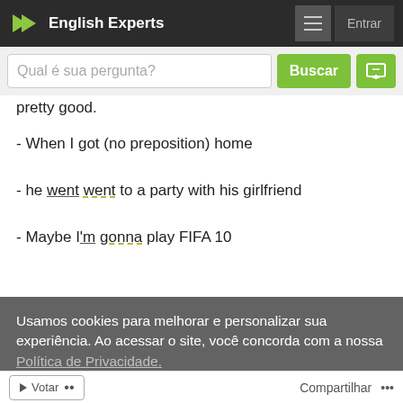English Experts
Qual é sua pergunta?
pretty good.
- When I got (no preposition) home
- he went to a party with his girlfriend
- Maybe I'm gonna play FIFA 10
De forma geral, foi muito bem escrito. Parabéns pela
Usamos cookies para melhorar e personalizar sua experiência. Ao acessar o site, você concorda com a nossa Política de Privacidade.
Eu entendi!
Votar  Compartilhar ...